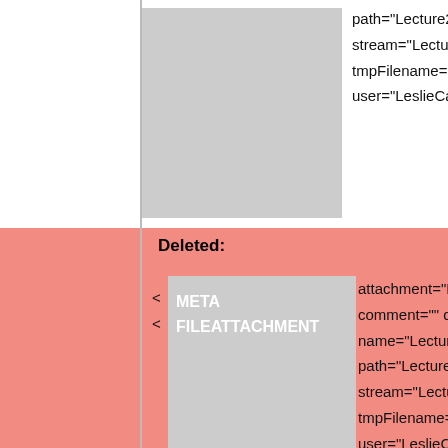path="Lecture2.ppt" size="… stream="Lecture2.ppt" tmpFilename="/usr/tmp/CG… user="LeslieCamilleri" vers…
Deleted:
< META FILEATTACHMENT  attachment="Lecture3.ppt" comment="" date="120705… name="Lecture3.ppt" path="Lecture3.ppt" size="… stream="Lecture3.ppt" tmpFilename="/usr/tmp/CG… user="LeslieCamilleri" vers…
META FILEATTACHMENT  attachment="Lecture4.ppt" comment="" date="120706… name="Lecture4.ppt" path="Lecture4.ppt" size="…